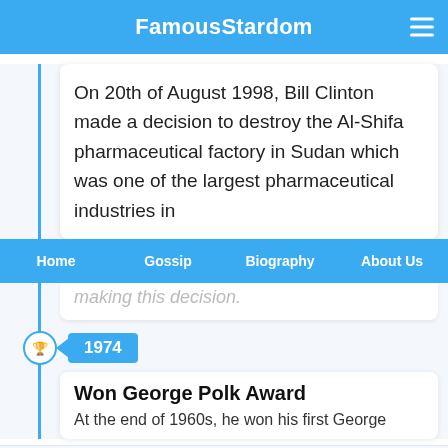FamousStardom
On 20th of August 1998, Bill Clinton made a decision to destroy the Al-Shifa pharmaceutical factory in Sudan which was one of the largest pharmaceutical industries in
Home  Gossip  Biography  About Us
making this decision.
1974
Won George Polk Award
At the end of 1960s, he won his first George
Search for
1  BEST HIGH RETURN INVESTMENTS
2  WATER DAMAGED WALL REPAIR
Ad | Business Focus